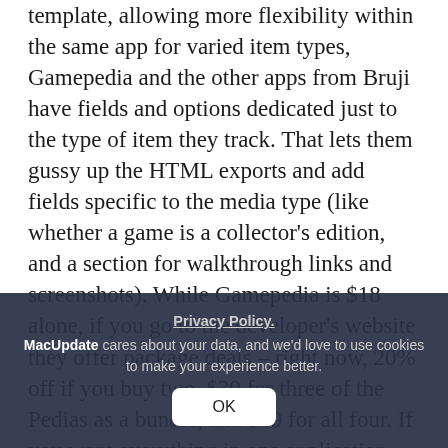template, allowing more flexibility within the same app for varied item types, Gamepedia and the other apps from Bruji have fields and options dedicated just to the type of item they track. That lets them gussy up the HTML exports and add fields specific to the media type (like whether a game is a collector's edition, and a section for walkthrough links and screenshots). While Gamepedia is $18 alone, if you go to the developer's website they offer package deals – right now, 20% off if you buy two, $39 for three of the Pedias as a bundle, and $49 for all four. If you want everything in one application, Delicious Library and the newer Library Pro are solid programs. If you want something more specialized by media type and don't mind having separate apps for the job. Personally I like the Pedia approach better after trying several apps of sort, I'd recommend
Privacy Policy. MacUpdate cares about your data, and we'd love to use cookies to make your experience better.